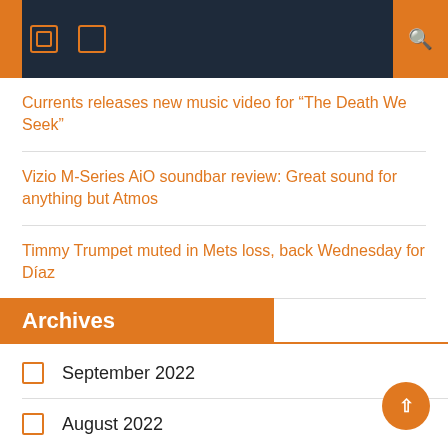Navigation header with icons and search
Currents releases new music video for “The Death We Seek”
Vizio M-Series AiO soundbar review: Great sound for anything but Atmos
Timmy Trumpet muted in Mets loss, back Wednesday for Díaz
Archives
September 2022
August 2022
July 2022
June 2022